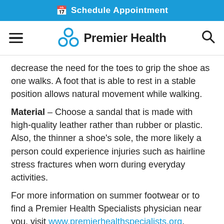Schedule Appointment
[Figure (logo): Premier Health logo with navigation bar showing hamburger menu, Premier Health logo with crosshatch icon, and search icon]
decrease the need for the toes to grip the shoe as one walks. A foot that is able to rest in a stable position allows natural movement while walking.
Material – Choose a sandal that is made with high-quality leather rather than rubber or plastic. Also, the thinner a shoe's sole, the more likely a person could experience injuries such as hairline stress fractures when worn during everyday activities.
For more information on summer footwear or to find a Premier Health Specialists physician near you, visit www.premierhealthspecialists.org.
Contact Us
Discover more about Premier Health and join us in